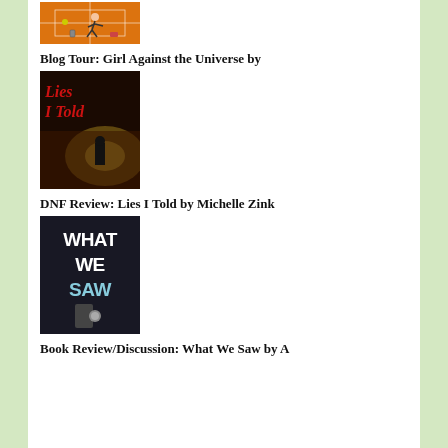[Figure (photo): Book cover for Girl Against the Universe - orange tennis court background with a girl falling and scattered items]
Blog Tour: Girl Against the Universe by
[Figure (photo): Book cover for Lies I Told by Michelle Zink - dark moody nighttime city scene with red italic title text]
DNF Review: Lies I Told by Michelle Zink
[Figure (photo): Book cover for What We Saw - dark background with white painted letters spelling WHAT WE SAW and a door knob]
Book Review/Discussion: What We Saw by A